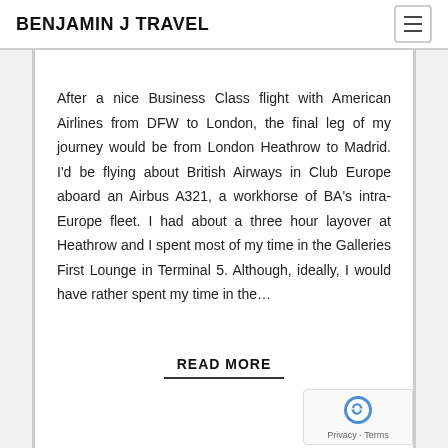BENJAMIN J TRAVEL
After a nice Business Class flight with American Airlines from DFW to London, the final leg of my journey would be from London Heathrow to Madrid. I'd be flying about British Airways in Club Europe aboard an Airbus A321, a workhorse of BA's intra-Europe fleet. I had about a three hour layover at Heathrow and I spent most of my time in the Galleries First Lounge in Terminal 5. Although, ideally, I would have rather spent my time in the…
READ MORE